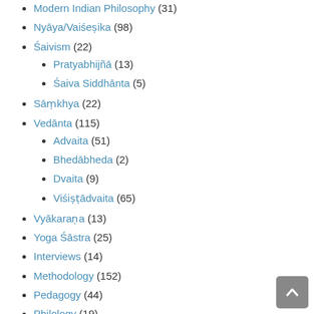Modern Indian Philosophy (31)
Nyāya/Vaiśeṣika (98)
Śaivism (22)
Pratyabhijñā (13)
Śaiva Siddhānta (5)
Sāṃkhya (22)
Vedānta (115)
Advaita (51)
Bhedābheda (2)
Dvaita (9)
Viśiṣṭādvaita (65)
Vyākaraṇa (13)
Yoga Śāstra (25)
Interviews (14)
Methodology (152)
Pedagogy (44)
Philology (19)
Philosophical Topics (395)
Aesthetics (26)
Epistemology (80)
Ethics (125)
Hermeneutics (70)